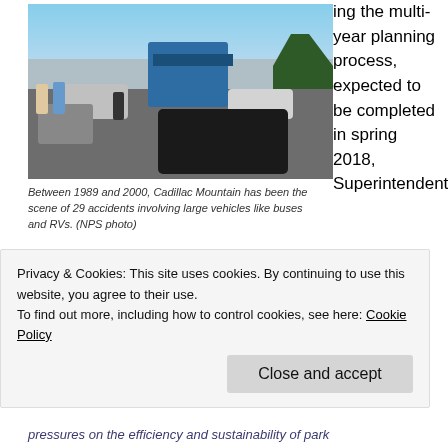[Figure (photo): Overhead view of a crowded parking lot on Cadillac Mountain, showing a large blue bus, multiple cars, an SUV, and pedestrians walking around. Trees visible in background against a blue sky.]
Between 1989 and 2000, Cadillac Mountain has been the scene of 29 accidents involving large vehicles like buses and RVs. (NPS photo)
ing the multi-year planning process, expected to be completed in spring 2018, Superintendent
Privacy & Cookies: This site uses cookies. By continuing to use this website, you agree to their use.
To find out more, including how to control cookies, see here: Cookie Policy
pressures on the efficiency and sustainability of park